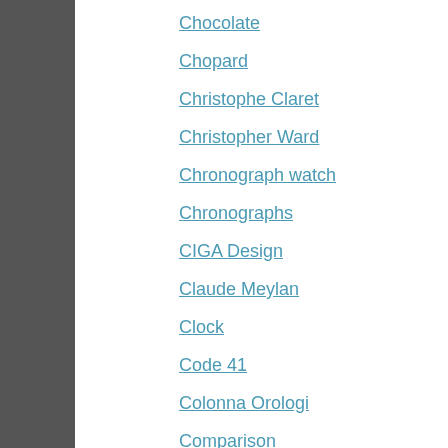Chocolate
Chopard
Christophe Claret
Christopher Ward
Chronograph watch
Chronographs
CIGA Design
Claude Meylan
Clock
Code 41
Colonna Orologi
Comparison
Corum
Cvstos
CWC
CX Swiss Military Watch